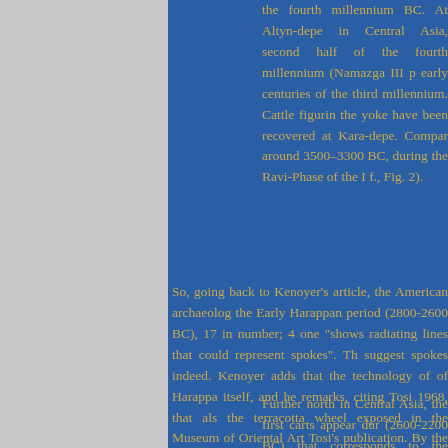the fourth millennium BC. At Altyn-depe in Central Asia, second half of the fourth millennium (Namazga III period) and early centuries of the third millennium. Cattle figurines under the yoke have been recovered at Kara-depe. Comparable images around 3500–3300 BC, during the Ravi-Phase of the Indus (Meadows f., Fig. 2).
So, going back to Kenoyer's article, the American archaeologist studied the Early Harappan period (2800-2600 BC), 17 in number; 4 solid wheels, one "shows radiating lines that could represent spokes". The lines suggest spokes indeed. Kenoyer adds that the technology of wheeled vehicles of Harappa itself, and he remarks, citing Tosi 1968, that also remarkable is the terracotta wheel exposed in the Museum of Oriental Art in Rome from Tosi's publication. By the way, it is remarkable that there are zebus were domesticated around Mehrgarh, it suggests a significant subcontinent. A tendency shown also in the historical period, when as White India and was more Indian than Iranian until the Mughal period. On the other hand, Kenoyer adds (p.8):
Further north in Central Asia, the first carts appear during the Namazga IV phase (2600-2200 BC) that corresponds to the Harappa Period. They are wheeled carts drawn by one or two camels and not by